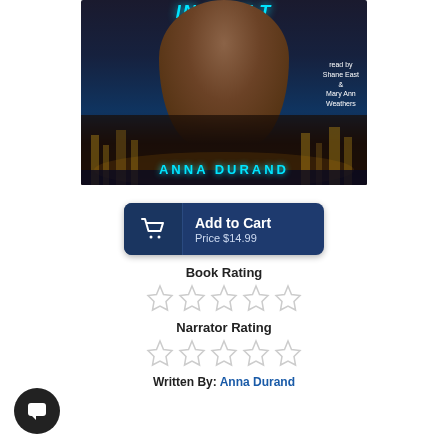[Figure (illustration): Audiobook cover for a novel by Anna Durand. Shows the muscular back of a shirtless man against a night cityscape with river reflections. Text reads: 'read by Shane East & Mary Ann Weathers' and 'ANNA DURAND' at the bottom in teal lettering.]
[Figure (other): Add to Cart button with shopping cart icon, showing 'Add to Cart' and 'Price $14.99']
Book Rating
[Figure (other): 5 empty star rating icons for Book Rating]
Narrator Rating
[Figure (other): 5 empty star rating icons for Narrator Rating]
Written By: Anna Durand